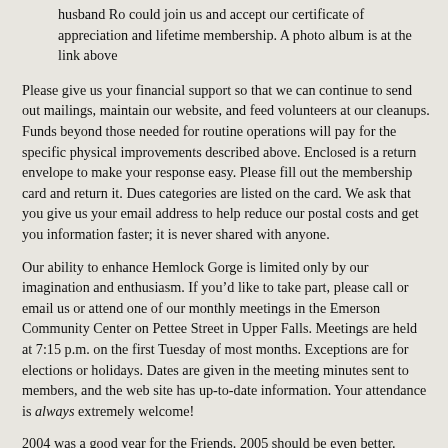husband Ro could join us and accept our certificate of appreciation and lifetime membership. A photo album is at the link above
Please give us your financial support so that we can continue to send out mailings, maintain our website, and feed volunteers at our cleanups. Funds beyond those needed for routine operations will pay for the specific physical improvements described above. Enclosed is a return envelope to make your response easy. Please fill out the membership card and return it. Dues categories are listed on the card. We ask that you give us your email address to help reduce our postal costs and get you information faster; it is never shared with anyone.
Our ability to enhance Hemlock Gorge is limited only by our imagination and enthusiasm. If you’d like to take part, please call or email us or attend one of our monthly meetings in the Emerson Community Center on Pettee Street in Upper Falls. Meetings are held at 7:15 p.m. on the first Tuesday of most months. Exceptions are for elections or holidays. Dates are given in the meeting minutes sent to members, and the web site has up-to-date information. Your attendance is always extremely welcome!
2004 was a good year for the Friends. 2005 should be even better. Please be part of our work.